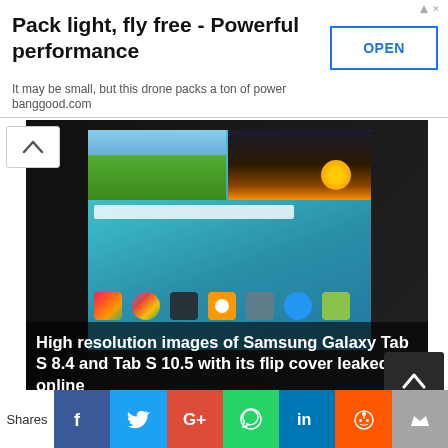[Figure (other): Advertisement banner: Pack light, fly free - Powerful performance. It may be small, but this drone packs a ton of power. banggood.com. OPEN button.]
[Figure (photo): Samsung Galaxy Tab S tablet showing Android home screen with app icons and wallpaper. Title overlay: High resolution images of Samsung Galaxy Tab S 8.4 and Tab S 10.5 with its flip cover leaked online]
[Figure (photo): Tablet device photo (bottom portion visible)]
[Figure (infographic): Social share bar with Facebook, Twitter, Google+, WhatsApp, LinkedIn, Reddit, and StumbleUpon buttons. Label: Shares]